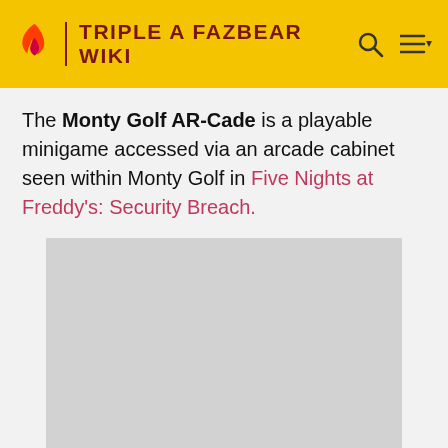TRIPLE A FAZBEAR WIKI
The Monty Golf AR-Cade is a playable minigame accessed via an arcade cabinet seen within Monty Golf in Five Nights at Freddy's: Security Breach.
[Figure (other): Gray placeholder image rectangle (advertisement placeholder)]
ADVERTISEMENT